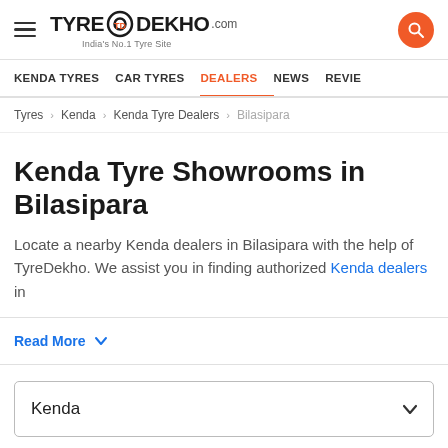TyreDekho.com — India's No.1 Tyre Site
KENDA TYRES  CAR TYRES  DEALERS  NEWS  REVIEWS
Tyres > Kenda > Kenda Tyre Dealers > Bilasipara
Kenda Tyre Showrooms in Bilasipara
Locate a nearby Kenda dealers in Bilasipara with the help of TyreDekho. We assist you in finding authorized Kenda dealers in
Read More
Kenda
Bilasipara